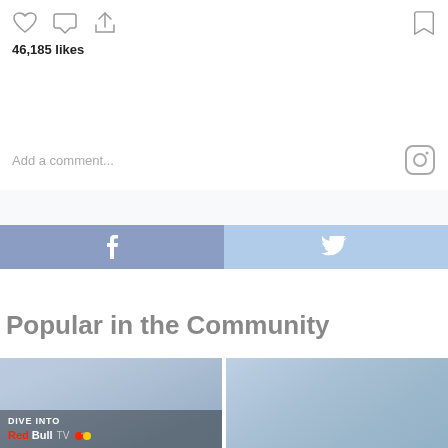[Figure (screenshot): Instagram action bar with heart, comment, share icons and bookmark icon on right. Shows 46,185 likes.]
46,185 likes
Add a comment...
[Figure (infographic): Social share bar with Facebook (f) button on left in medium blue/purple and Twitter bird icon on right in light blue]
Popular in the Community
[Figure (screenshot): Two community cards side by side. Left card shows Red Bull TV promotional image with text DIVE INTO Red Bull TV. Right card shows action sports image.]